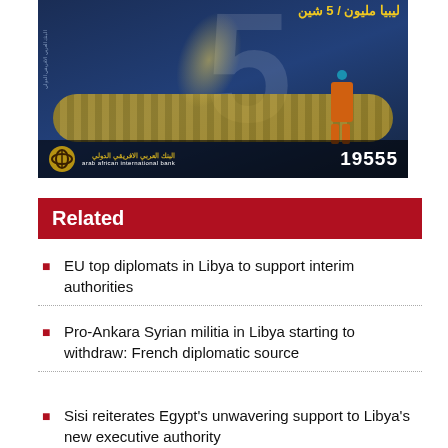[Figure (photo): Arab African International Bank advertisement featuring an industrial factory scene with a conveyor belt and worker, large number 5, Arabic text at top, bank logo and hotline number 19555 at bottom.]
Related
EU top diplomats in Libya to support interim authorities
Pro-Ankara Syrian militia in Libya starting to withdraw: French diplomatic source
Sisi reiterates Egypt's unwavering support to Libya's new executive authority